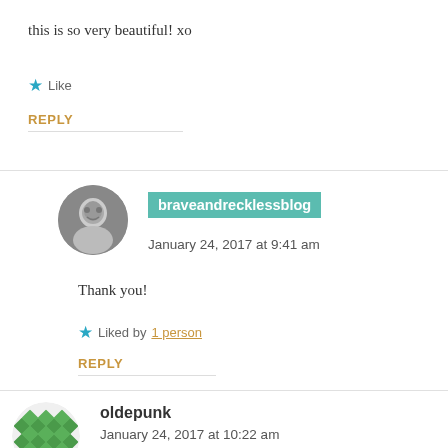this is so very beautiful! xo
★ Like
REPLY
braveandrecklessblog
January 24, 2017 at 9:41 am
Thank you!
★ Liked by 1 person
REPLY
[Figure (illustration): Circular avatar photo of braveandrecklessblog user, black and white portrait]
[Figure (illustration): Green diamond-pattern avatar icon for oldepunk user]
oldepunk
January 24, 2017 at 10:22 am